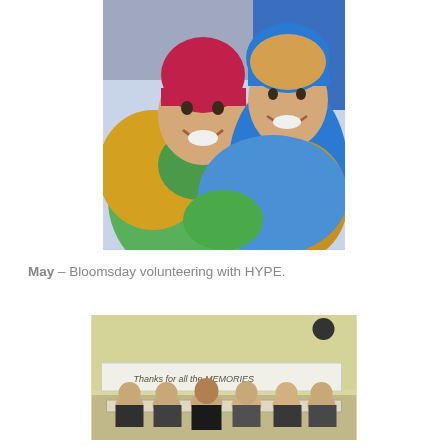[Figure (photo): Two young women smiling at the camera, one wearing a red/magenta beanie hat and bundled in colorful jackets (yellow, green), the other in a blue hoodie/jacket, appearing to be at an outdoor event.]
May – Bloomsday volunteering with HYPE.
[Figure (photo): A group of young women sitting at a table in a room with a light yellow wall, behind a long banner reading 'Thanks for all the MEMORIES'. They are posing for the photo.]